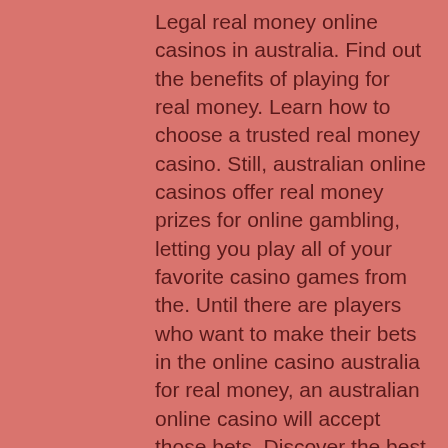Legal real money online casinos in australia. Find out the benefits of playing for real money. Learn how to choose a trusted real money casino. Still, australian online casinos offer real money prizes for online gambling, letting you play all of your favorite casino games from the. Until there are players who want to make their bets in the online casino australia for real money, an australian online casino will accept those bets. Discover the best online casino sites for australians in our guide. Compare the top online casinos in 2022, with ✓ great real money games ✓ top bonuses. There's also bonus money for specific days in the week, as well as one specifically for
Awesome selection of live bingo games: play bingo in real time with other players, slot machines in cedar rapids iowa. Good for beginners and advanced bingo players: play bingo with as little as Rs. Developers recognize the time with an 95% payback...